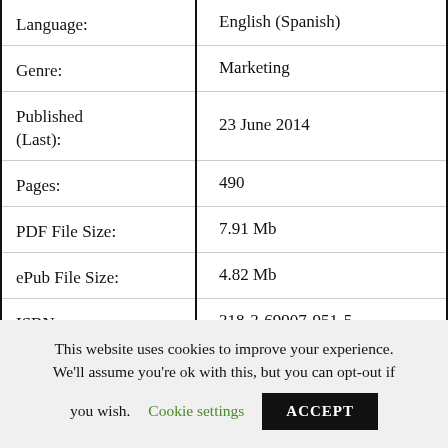| Field | Value |
| --- | --- |
| Language: | English (Spanish) |
| Genre: | Marketing |
| Published (Last): | 23 June 2014 |
| Pages: | 490 |
| PDF File Size: | 7.91 Mb |
| ePub File Size: | 4.82 Mb |
| ISBN: | 318-3-69907-951-5 |
This website uses cookies to improve your experience. We'll assume you're ok with this, but you can opt-out if you wish. Cookie settings ACCEPT